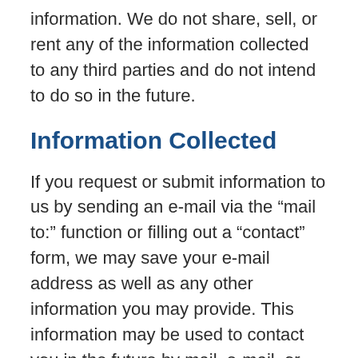information. We do not share, sell, or rent any of the information collected to any third parties and do not intend to do so in the future.
Information Collected
If you request or submit information to us by sending an e-mail via the “mail to:” function or filling out a “contact” form, we may save your e-mail address as well as any other information you may provide. This information may be used to contact you in the future by mail, e-mail, or phone to convey information about our solutions or services that we feel may benefit you. Your e-mail and other information you